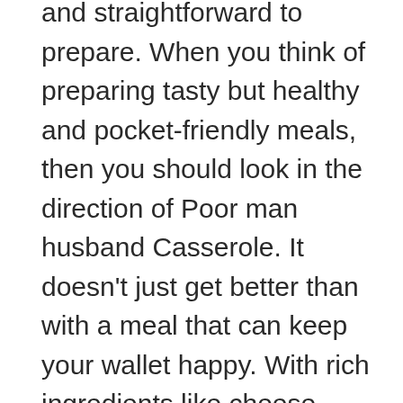and straightforward to prepare. When you think of preparing tasty but healthy and pocket-friendly meals, then you should look in the direction of Poor man husband Casserole. It doesn't just get better than with a meal that can keep your wallet happy. With rich ingredients like cheese, tomato sauce, sour cream, etc. this simple dinner casserole recipe will be enriching your body with the needed nutrients to grow right and limit weight gain.

The good thing about Poor man husband Casserole is that the ingredients can be modified to have in it whatever anyone desires, so you can go ahead with whatever you have at home or go with our ingredients. The truth is that either way you will have a super tasty and delicious Poor man husband Casserole dish that